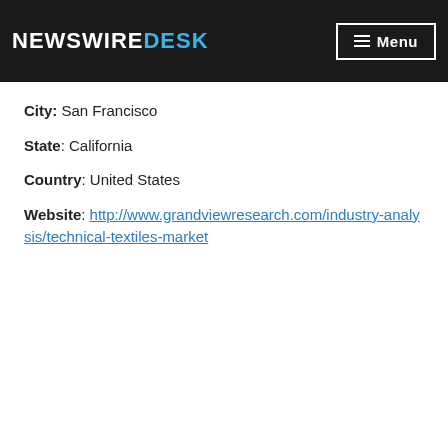NewswireDesk — Menu
City: San Francisco
State: California
Country: United States
Website: http://www.grandviewresearch.com/industry-analysis/technical-textiles-market